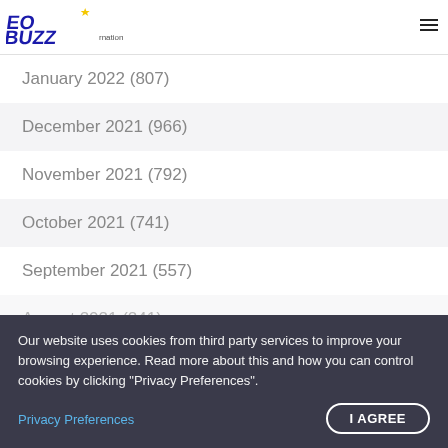EO Buzz
January 2022 (807)
December 2021 (966)
November 2021 (792)
October 2021 (741)
September 2021 (557)
August 2021 (241)
June 2021 (172)
May 2021 (629)
Our website uses cookies from third party services to improve your browsing experience. Read more about this and how you can control cookies by clicking "Privacy Preferences".
Privacy Preferences
I AGREE